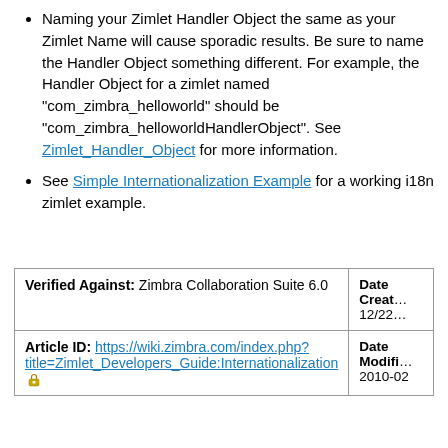Naming your Zimlet Handler Object the same as your Zimlet Name will cause sporadic results. Be sure to name the Handler Object something different. For example, the Handler Object for a zimlet named "com_zimbra_helloworld" should be "com_zimbra_helloworldHandlerObject". See Zimlet_Handler_Object for more information.
See Simple Internationalization Example for a working i18n zimlet example.
|  | Date Created / Date Modified |
| --- | --- |
| Verified Against: Zimbra Collaboration Suite 6.0 | Date Created: 12/22... |
| Article ID: https://wiki.zimbra.com/index.php?title=Zimlet_Developers_Guide:Internationalization | Date Modified: 2010-02 |